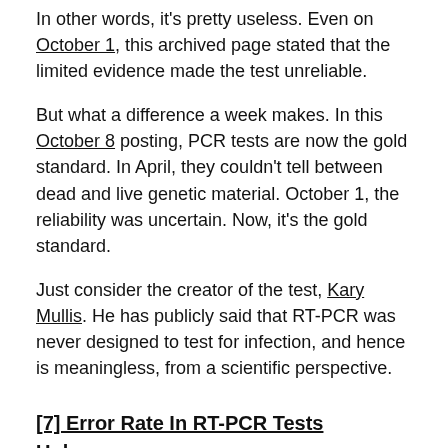In other words, it's pretty useless. Even on October 1, this archived page stated that the limited evidence made the test unreliable.
But what a difference a week makes. In this October 8 posting, PCR tests are now the gold standard. In April, they couldn't tell between dead and live genetic material. October 1, the reliability was uncertain. Now, it's the gold standard.
Just consider the creator of the test, Kary Mullis. He has publicly said that RT-PCR was never designed to test for infection, and hence is meaningless, from a scientific perspective.
[7] Error Rate In RT-PCR Tests Unknown